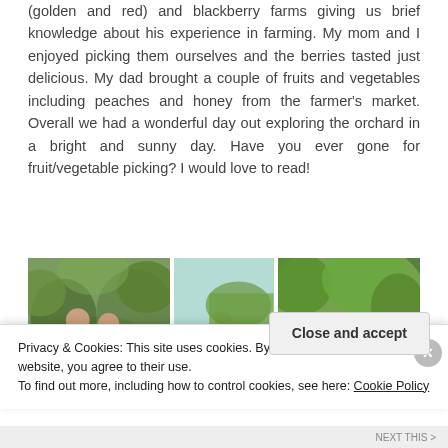(golden and red) and blackberry farms giving us brief knowledge about his experience in farming. My mom and I enjoyed picking them ourselves and the berries tasted just delicious. My dad brought a couple of fruits and vegetables including peaches and honey from the farmer's market. Overall we had a wonderful day out exploring the orchard in a bright and sunny day. Have you ever gone for fruit/vegetable picking? I would love to read!
[Figure (photo): Three photos side by side showing people picking fruit at an orchard/farm. Left photo: two young women smiling among green bushes. Middle photo: a person standing in a farm field with rows of crops. Right photo: two women posing near lush green berry bushes.]
Privacy & Cookies: This site uses cookies. By continuing to use this website, you agree to their use.
To find out more, including how to control cookies, see here: Cookie Policy